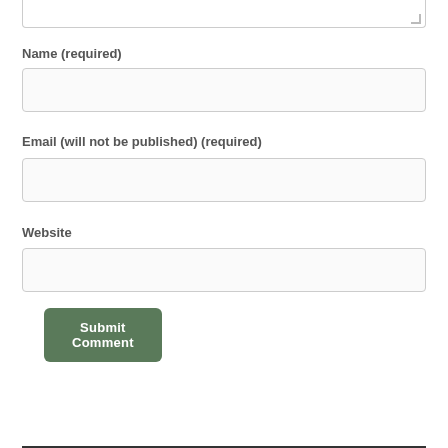Name (required)
Email (will not be published) (required)
Website
Submit Comment